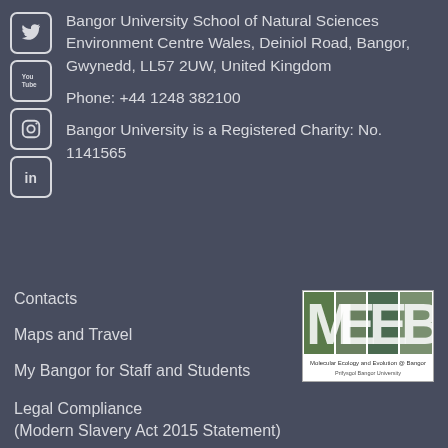[Figure (logo): Social media icons: Twitter bird, YouTube logo, Instagram camera, LinkedIn 'in' logo — white on dark rounded-square boxes]
Bangor University School of Natural Sciences Environment Centre Wales, Deiniol Road, Bangor, Gwynedd, LL57 2UW, United Kingdom
Phone: +44 1248 382100
Bangor University is a Registered Charity: No. 1141565
Contacts
[Figure (logo): MEEB — Molecular Ecology and Evolution @ Bangor / Prifysgol Bangor University logo with nature letter images]
Maps and Travel
My Bangor for Staff and Students
Legal Compliance (Modern Slavery Act 2015 Statement)
Privacy and Cookies